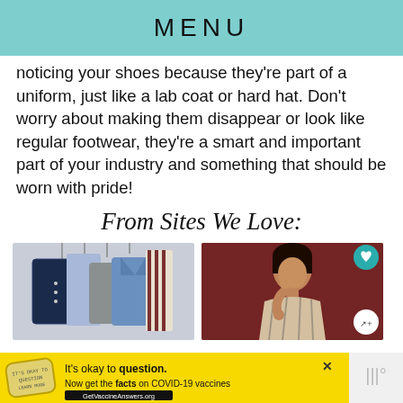MENU
noticing your shoes because they're part of a uniform, just like a lab coat or hard hat. Don't worry about making them disappear or look like regular footwear, they're a smart and important part of your industry and something that should be worn with pride!
From Sites We Love:
[Figure (photo): Clothing items on hangers: dark navy double-breasted jacket, light blue dress shirt, grey knit sweater, blue blazer, and a striped scarf]
[Figure (photo): Woman in a patterned dress posing against a dark red/maroon ornate background, with heart and share icons overlaid]
[Figure (other): Yellow advertisement bar: stamp icon, text 'It's okay to question. Now get the facts on COVID-19 vaccines GetVaccineAnswers.org', close button]